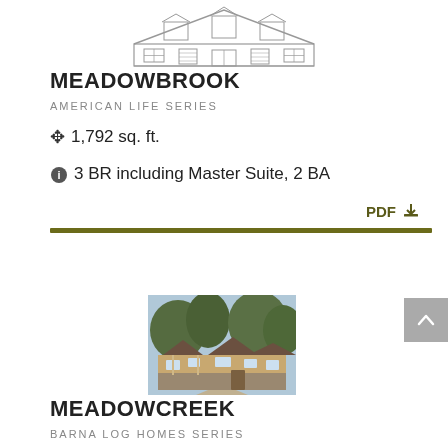[Figure (illustration): Architectural line drawing of the Meadowbrook house front elevation, centered at top of page]
MEADOWBROOK
AMERICAN LIFE SERIES
1,792 sq. ft.
3 BR including Master Suite, 2 BA
PDF
[Figure (photo): Exterior photograph of the Meadowcreek house, a sprawling ranch-style home with dormers, stone accents, and trees in background]
MEADOWCREEK
BARNA LOG HOMES SERIES